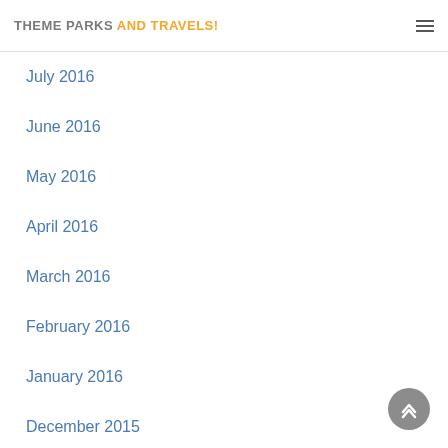THEME PARKS AND TRAVELS!
July 2016
June 2016
May 2016
April 2016
March 2016
February 2016
January 2016
December 2015
November 2015
October 2015